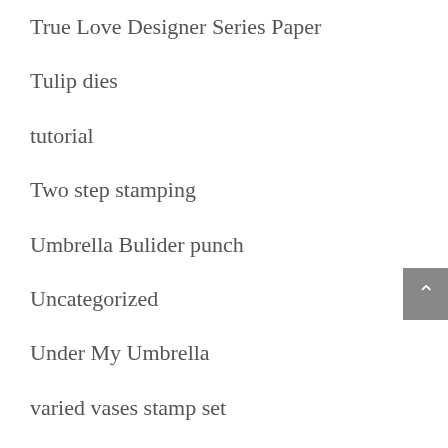True Love Designer Series Paper
Tulip dies
tutorial
Two step stamping
Umbrella Bulider punch
Uncategorized
Under My Umbrella
varied vases stamp set
vases builder punch
Vellum Layering Designs